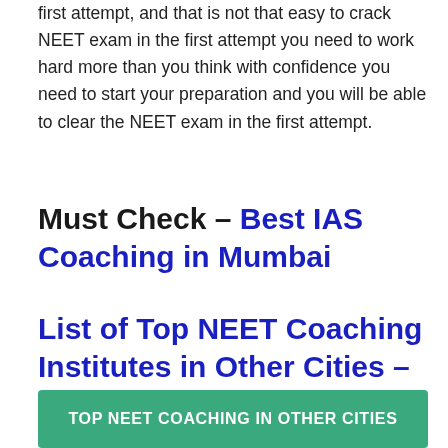first attempt, and that is not that easy to crack NEET exam in the first attempt you need to work hard more than you think with confidence you need to start your preparation and you will be able to clear the NEET exam in the first attempt.
Must Check – Best IAS Coaching in Mumbai
List of Top NEET Coaching Institutes in Other Cities –
[Figure (infographic): Green banner image with white bold text reading 'TOP NEET COACHING IN OTHER CITIES' and a partially visible person at the bottom]